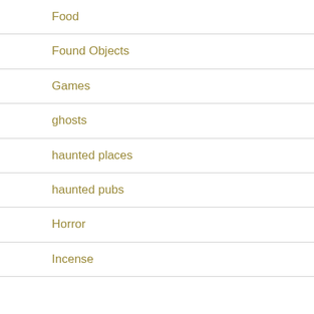Food
Found Objects
Games
ghosts
haunted places
haunted pubs
Horror
Incense